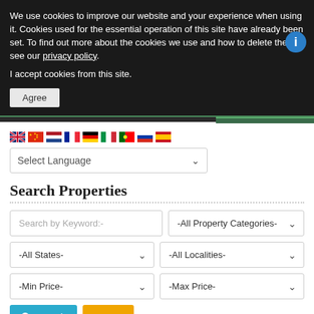We use cookies to improve our website and your experience when using it. Cookies used for the essential operation of this site have already been set. To find out more about the cookies we use and how to delete them, see our privacy policy.
I accept cookies from this site.
Agree
[Figure (screenshot): Language flags row: UK, China, Netherlands, France, Germany, Italy, Portugal, Russia, Spain]
Select Language
Search Properties
Search by Keyword:-
-All Property Categories-
-All States-
-All Localities-
-Min Price-
-Max Price-
Search
Reset